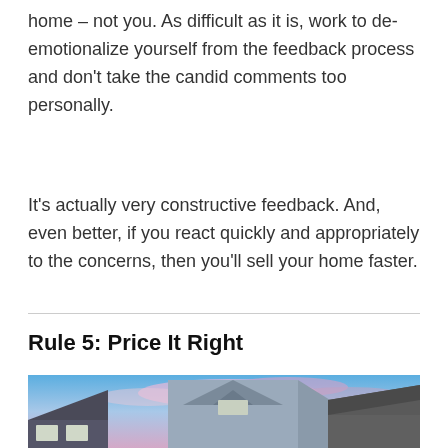home – not you. As difficult as it is, work to de-emotionalize yourself from the feedback process and don't take the candid comments too personally.
It's actually very constructive feedback. And, even better, if you react quickly and appropriately to the concerns, then you'll sell your home faster.
Rule 5: Price It Right
[Figure (photo): Exterior rooftops of modern houses against a colorful sunset sky with blue and pink/purple clouds]